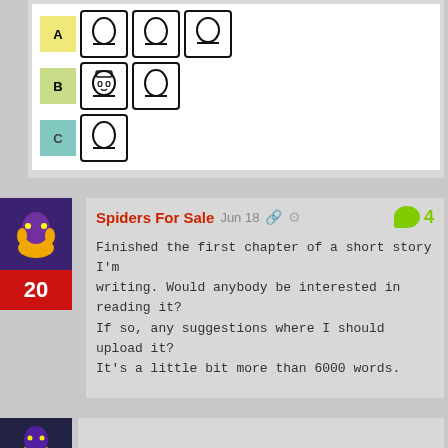[Figure (illustration): Matrix/grid puzzle image with rows labeled A, B, C (color-coded boxes in yellow-green, light green, teal) and columns showing hand-drawn face/head silhouettes in boxes.]
Spiders For Sale
Jun 18
4
20
Finished the first chapter of a short story I'm writing. Would anybody be interested in reading it? If so, any suggestions where I should upload it? It's a little bit more than 6000 words.
[Figure (illustration): Forum user avatar - dark purple/blue background with stylized character, partially visible at bottom of page.]